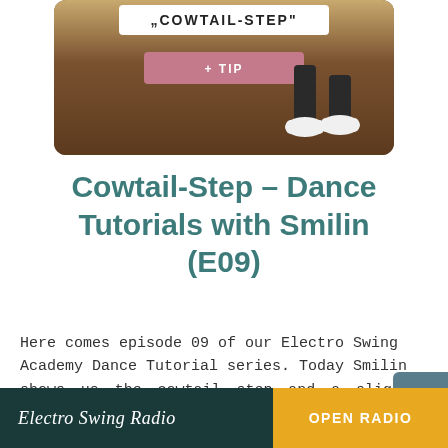[Figure (screenshot): Thumbnail image of a dance tutorial video showing feet on a wooden floor with overlay text '"COWTAIL-STEP"' in a white box and a pink '+ TIP' button]
Cowtail-Step – Dance Tutorials with Smilin (E09)
Here comes episode 09 of our Electro Swing Academy Dance Tutorial series. Today Smilin shows us the cowtail step and a slightly more...
Electro Swing Radio   OPEN RADIO